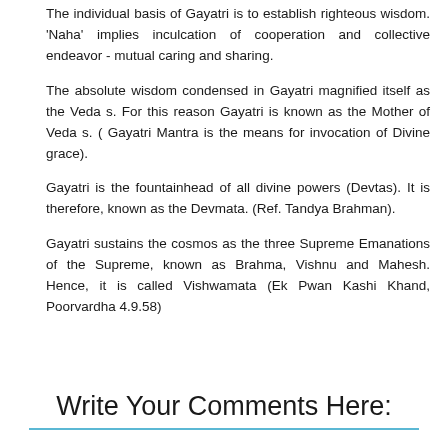The individual basis of Gayatri is to establish righteous wisdom. 'Naha' implies inculcation of cooperation and collective endeavor - mutual caring and sharing.
The absolute wisdom condensed in Gayatri magnified itself as the Veda s. For this reason Gayatri is known as the Mother of Veda s. ( Gayatri Mantra is the means for invocation of Divine grace).
Gayatri is the fountainhead of all divine powers (Devtas). It is therefore, known as the Devmata. (Ref. Tandya Brahman).
Gayatri sustains the cosmos as the three Supreme Emanations of the Supreme, known as Brahma, Vishnu and Mahesh. Hence, it is called Vishwamata (Ek Pwan Kashi Khand, Poorvardha 4.9.58)
Write Your Comments Here: